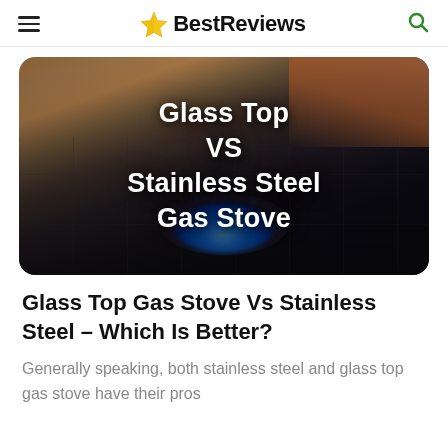BestReviews
[Figure (photo): Hero image of a gas stove burner with blue flame, overlaid with white bold text reading: Glass Top VS Stainless Steel Gas Stove. Dark, moody kitchen background.]
Glass Top Gas Stove Vs Stainless Steel – Which Is Better?
Generally speaking, both stainless steel and glass top gas stove have their pros